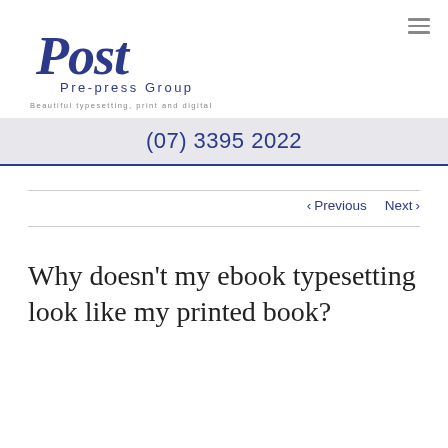[Figure (logo): Post Pre-press Group logo with script 'Post' text and tagline 'Beautiful typesetting, print and digital']
(07) 3395 2022
< Previous   Next >
Why doesn't my ebook typesetting look like my printed book?